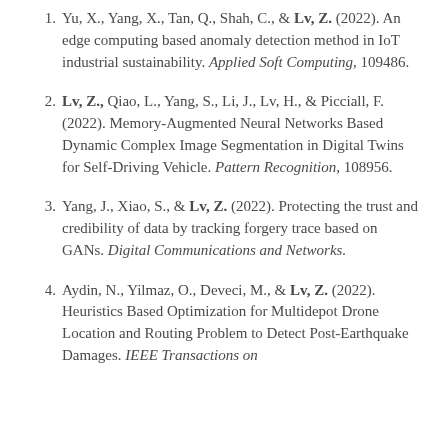Yu, X., Yang, X., Tan, Q., Shah, C., & Lv, Z. (2022). An edge computing based anomaly detection method in IoT industrial sustainability. Applied Soft Computing, 109486.
Lv, Z., Qiao, L., Yang, S., Li, J., Lv, H., & Picciall, F. (2022). Memory-Augmented Neural Networks Based Dynamic Complex Image Segmentation in Digital Twins for Self-Driving Vehicle. Pattern Recognition, 108956.
Yang, J., Xiao, S., & Lv, Z. (2022). Protecting the trust and credibility of data by tracking forgery trace based on GANs. Digital Communications and Networks.
Aydin, N., Yilmaz, O., Deveci, M., & Lv, Z. (2022). Heuristics Based Optimization for Multidepot Drone Location and Routing Problem to Detect Post-Earthquake Damages. IEEE Transactions on